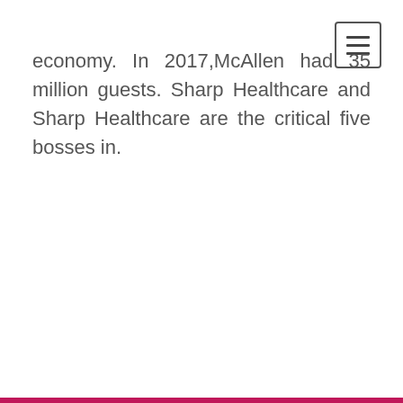[Figure (other): Hamburger menu navigation button icon (three horizontal lines) in top-right corner, with border]
economy. In 2017,McAllen had 35 million guests. Sharp Healthcare and Sharp Healthcare are the critical five bosses in.